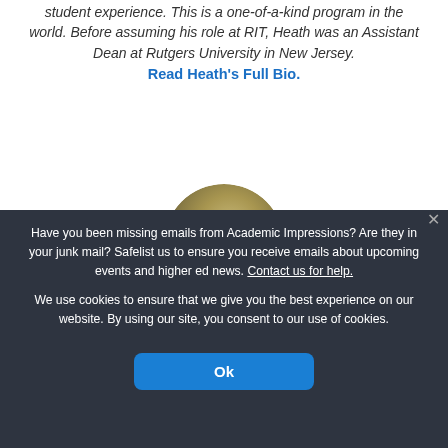student experience. This is a one-of-a-kind program in the world. Before assuming his role at RIT, Heath was an Assistant Dean at Rutgers University in New Jersey.
Read Heath's Full Bio.
[Figure (photo): Partial circular photo of a person with brown hair, peeking into the frame from the top.]
Have you been missing emails from Academic Impressions? Are they in your junk mail? Safelist us to ensure you receive emails about upcoming events and higher ed news. Contact us for help.
We use cookies to ensure that we give you the best experience on our website. By using our site, you consent to our use of cookies.